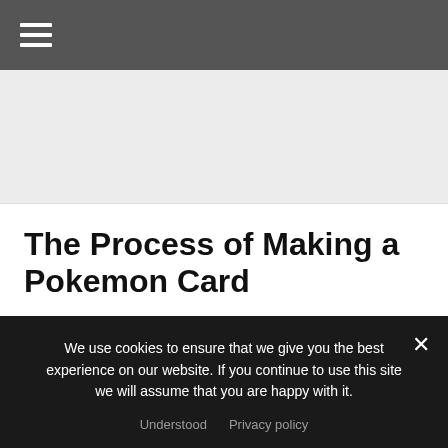Navigation bar with hamburger menu
[Figure (other): Advertisement/banner area placeholder]
The Process of Making a Pokemon Card
JUNE 8TH, 2018   KITTY   ENTERTAINMENT, GAMING, GEEKY, NINTENDO, TOYS   2 COMMENTS
We use cookies to ensure that we give you the best experience on our website. If you continue to use this site we will assume that you are happy with it.
Understood   Privacy policy